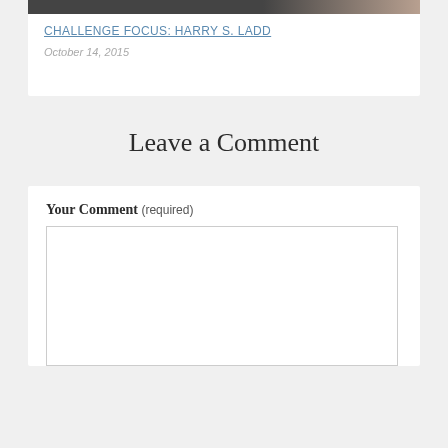[Figure (photo): Partial photograph showing people, cropped at top of page]
CHALLENGE FOCUS: HARRY S. LADD
October 14, 2015
Leave a Comment
Your Comment (required)